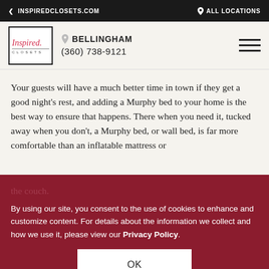< INSPIREDCLOSETS.COM    ⦿ ALL LOCATIONS
[Figure (logo): Inspired Closets logo in a bordered box with italic script text]
BELLINGHAM
(360) 738-9121
Your guests will have a much better time in town if they get a good night's rest, and adding a Murphy bed to your home is the best way to ensure that happens. There when you need it, tucked away when you don't, a Murphy bed, or wall bed, is far more comfortable than an inflatable mattress or the couch.
By using our site, you consent to the use of cookies to enhance and customize content. For details about the information we collect and how we use it, please view our Privacy Policy.
OK
DOWNLOAD IDENA BROCHURE